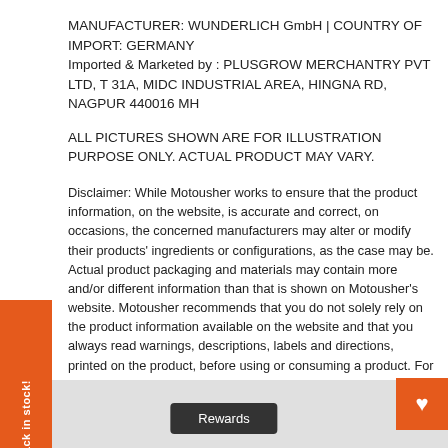MANUFACTURER: WUNDERLICH GmbH | COUNTRY OF IMPORT: GERMANY
Imported & Marketed by : PLUSGROW MERCHANTRY PVT LTD, T 31A, MIDC INDUSTRIAL AREA, HINGNA RD, NAGPUR 440016 MH
ALL PICTURES SHOWN ARE FOR ILLUSTRATION PURPOSE ONLY. ACTUAL PRODUCT MAY VARY.
Disclaimer: While Motousher works to ensure that the product information, on the website, is accurate and correct, on occasions, the concerned manufacturers may alter or modify their products' ingredients or configurations, as the case may be. Actual product packaging and materials may contain more and/or different information than that is shown on Motousher's website. Motousher recommends that you do not solely rely on the product information available on the website and that you always read warnings, descriptions, labels and directions, printed on the product, before using or consuming a product. For any additional information about a product, please contact the concerned manufacturer or refer to their website.
YOU MAY ALSO LIKE